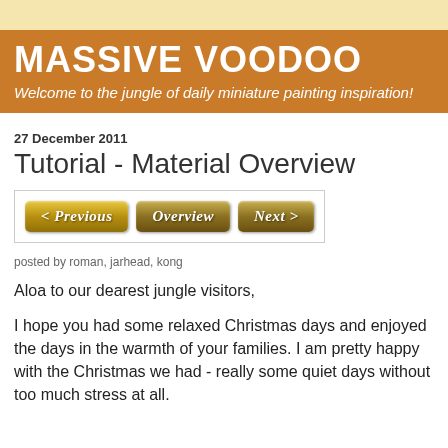MASSIVE VOODOO
Welcome to the jungle of daily miniature painting inspiration!
27 December 2011
Tutorial - Material Overview
[Figure (other): Navigation buttons: < PREVIOUS, OVERVIEW, NEXT >]
posted by roman, jarhead, kong
Aloa to our dearest jungle visitors,

I hope you had some relaxed Christmas days and enjoyed the days in the warmth of your families. I am pretty happy with the Christmas we had - really some quiet days without too much stress at all.